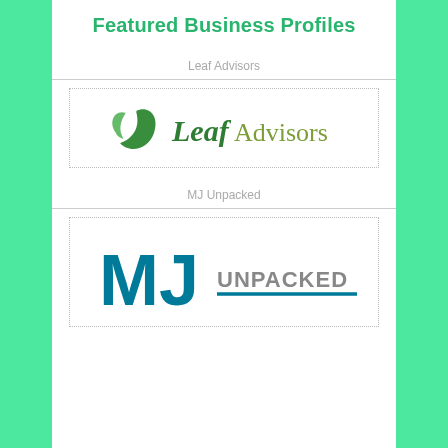Featured Business Profiles
Leaf Advisors
[Figure (logo): Leaf Advisors logo: two green leaves on left, text 'Leaf' in dark green bold italic and 'Advisors' in olive/medium green regular]
MJ Unpacked
[Figure (logo): MJ Unpacked logo: large bold teal 'MJ' letters with 'UNPACKED' in gray capitals and a teal underline]